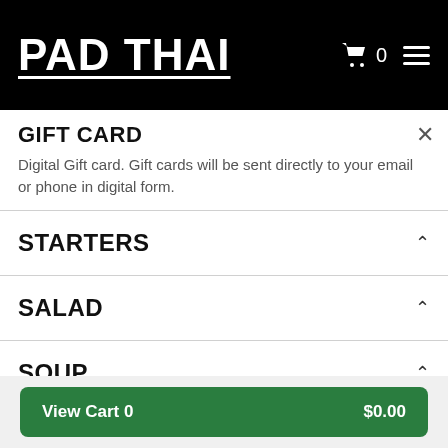PAD THAI
GIFT CARD
Digital Gift card. Gift cards will be sent directly to your email or phone in digital form.
STARTERS
SALAD
SOUP
Soup served in bowl size.
View Cart 0   $0.00